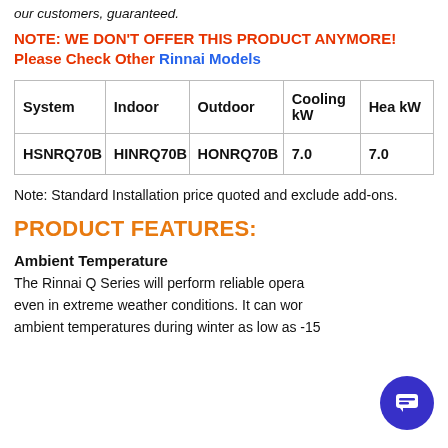our customers, guaranteed.
NOTE: WE DON'T OFFER THIS PRODUCT ANYMORE!
Please Check Other Rinnai Models
| System | Indoor | Outdoor | Cooling kW | Heating kW |
| --- | --- | --- | --- | --- |
| HSNRQ70B | HINRQ70B | HONRQ70B | 7.0 | 7.0 |
Note: Standard Installation price quoted and exclude add-ons.
PRODUCT FEATURES:
Ambient Temperature
The Rinnai Q Series will perform reliable opera... even in extreme weather conditions. It can wor... ambient temperatures during winter as low as -15